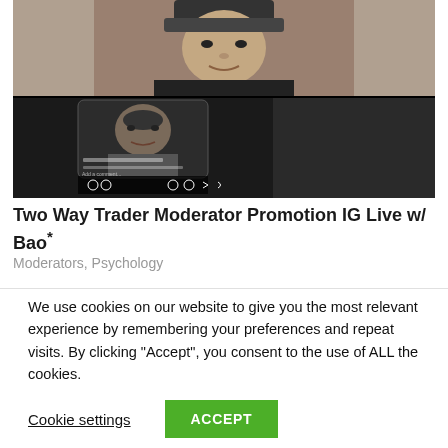[Figure (photo): Screenshot of an Instagram Live session showing two participants: a person wearing a cap at the top, and a phone screen showing another person below, with Instagram live UI elements visible. Background is black.]
Two Way Trader Moderator Promotion IG Live w/ Bao*
Moderators, Psychology
We use cookies on our website to give you the most relevant experience by remembering your preferences and repeat visits. By clicking “Accept”, you consent to the use of ALL the cookies.
Cookie settings
ACCEPT